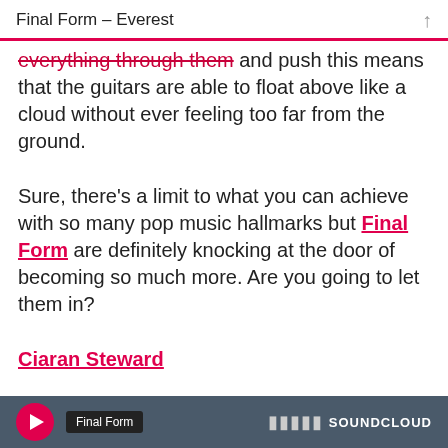Final Form – Everest
everything through them and push this means that the guitars are able to float above like a cloud without ever feeling too far from the ground.
Sure, there's a limit to what you can achieve with so many pop music hallmarks but Final Form are definitely knocking at the door of becoming so much more. Are you going to let them in?
Ciaran Steward
[Figure (screenshot): SoundCloud player bar with Final Form label, play button, waveform bars and SOUNDCLOUD logo]